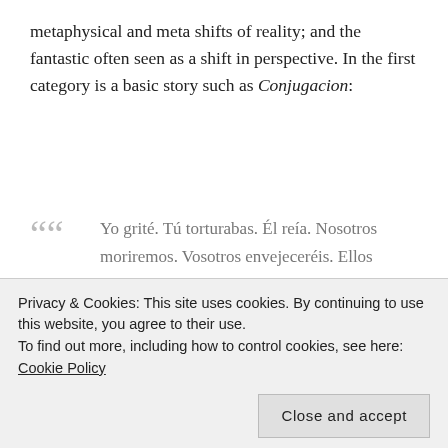metaphysical and meta shifts of reality; and the fantastic often seen as a shift in perspective. In the first category is a basic story such as Conjugacion:
Yo grité. Tú torturabas. Él reía. Nosotros moriremos. Vosotros envejeceréis. Ellos olvidarán.
I screamed. You were torturing. He was smiling. We will die. You all will get old. They will forget.
In the story you have a playful use of verb tenses to
Privacy & Cookies: This site uses cookies. By continuing to use this website, you agree to their use.
To find out more, including how to control cookies, see here: Cookie Policy
Close and accept